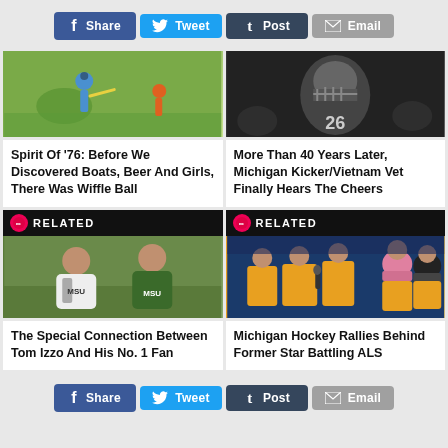[Figure (infographic): Social share bar with Facebook Share, Twitter Tweet, Tumblr Post, Email buttons at top]
[Figure (photo): Children playing Wiffle Ball outdoors on grass]
Spirit Of '76: Before We Discovered Boats, Beer And Girls, There Was Wiffle Ball
[Figure (photo): Black and white photo of Michigan football kicker in helmet]
More Than 40 Years Later, Michigan Kicker/Vietnam Vet Finally Hears The Cheers
RELATED
[Figure (photo): Two men in Michigan State gear, Tom Izzo and his No. 1 Fan]
The Special Connection Between Tom Izzo And His No. 1 Fan
RELATED
[Figure (photo): Michigan Hockey players in yellow jerseys with children at ice rink event]
Michigan Hockey Rallies Behind Former Star Battling ALS
[Figure (infographic): Social share bar with Facebook Share, Twitter Tweet, Tumblr Post, Email buttons at bottom]